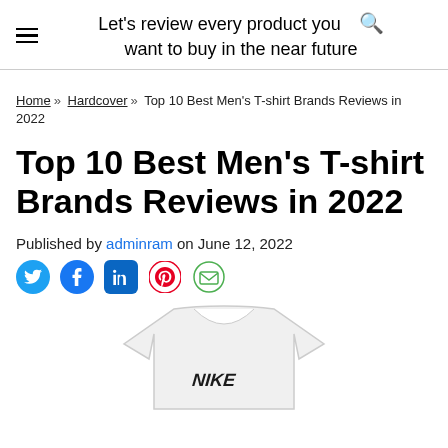Let's review every product you want to buy in the near future
Home » Hardcover » Top 10 Best Men's T-shirt Brands Reviews in 2022
Top 10 Best Men's T-shirt Brands Reviews in 2022
Published by adminram on June 12, 2022
[Figure (other): Social share icons: Twitter, Facebook, LinkedIn, Pinterest, Email]
[Figure (photo): White Nike t-shirt with Nike logo/text visible on the chest, shown from the front.]